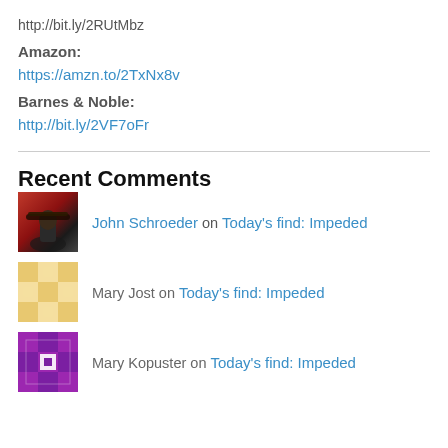http://bit.ly/2RUtMbz
Amazon:
https://amzn.to/2TxNx8v
Barnes & Noble:
http://bit.ly/2VF7oFr
Recent Comments
John Schroeder on Today's find: Impeded
Mary Jost on Today's find: Impeded
Mary Kopuster on Today's find: Impeded